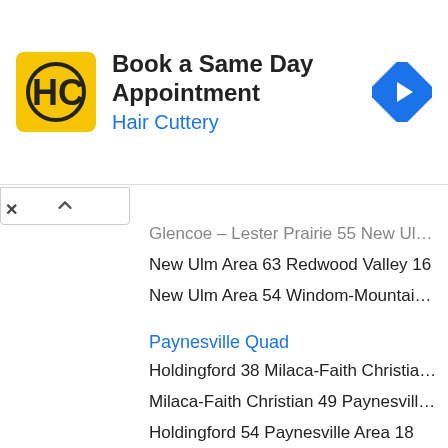[Figure (other): Hair Cuttery advertisement banner: yellow logo with HC letters, title 'Book a Same Day Appointment', subtitle 'Hair Cuttery' in blue, and a blue navigation arrow icon on the right]
Glencoe - Lester Prairie 55 New Ulm Area 50
New Ulm Area 63 Redwood Valley 16
New Ulm Area 54 Windom-Mountain Lake 18
Paynesville Quad
Holdingford 38 Milaca-Faith Christian 27
Milaca-Faith Christian 49 Paynesville Area 25
Holdingford 54 Paynesville Area 18
Paynesville Area 47 Staples-Motley 27
Holdingford 54 Staples-Motley 12
Pierz Quad
Pierz 72 Crosby-Ironton 3
Pierz 43 Albany 29
Pierz 81 C-E-C Lumberjacks 0